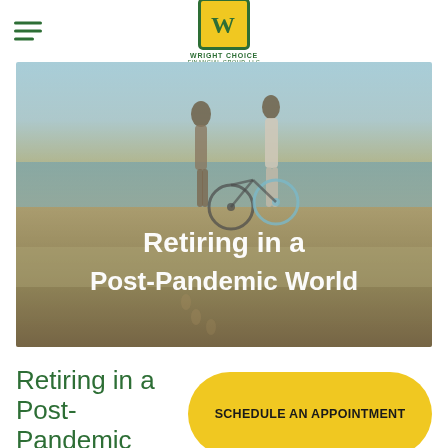Wright Choice Financial Group, LLC
[Figure (photo): Two people walking bicycles on a beach shoreline, viewed from behind, with ocean and sky in the background. Overlay text reads 'Retiring in a Post-Pandemic World'.]
Retiring in a Post-Pandemic World
SCHEDULE AN APPOINTMENT